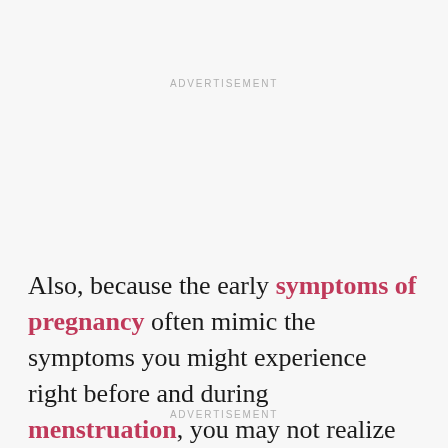ADVERTISEMENT
Also, because the early symptoms of pregnancy often mimic the symptoms you might experience right before and during menstruation, you may not realize you're
ADVERTISEMENT